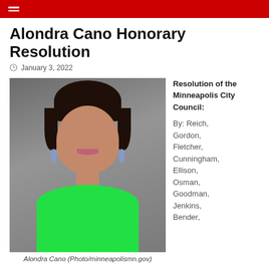Alondra Cano Honorary Resolution
January 3, 2022
[Figure (photo): Professional headshot of Alondra Cano, a woman with short dark hair, wearing a bright green top and blue drop earrings, smiling against a gray background.]
Alondra Cano (Photo/minneapolismn.gov)
Resolution of the Minneapolis City Council:

By: Reich, Gordon, Fletcher, Cunningham, Ellison, Osman, Goodman, Jenkins, Bender,
Schroeder, Johnson, and Palmisano